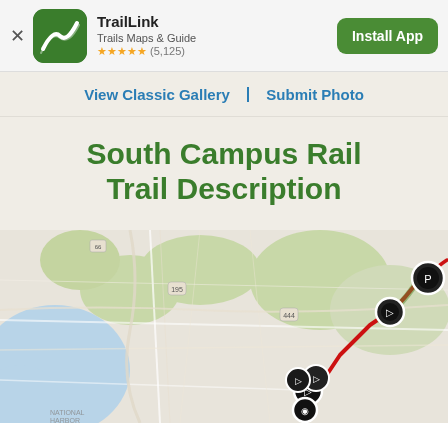[Figure (screenshot): TrailLink app banner with green logo icon, app name 'TrailLink', subtitle 'Trails Maps & Guide', 5-star rating (5,125), close button X, and green Install App button]
View Classic Gallery  |  Submit Photo
South Campus Rail Trail Description
[Figure (map): Google Maps screenshot showing trail route for South Campus Rail Trail with a red path and black circular map markers indicating trail points]